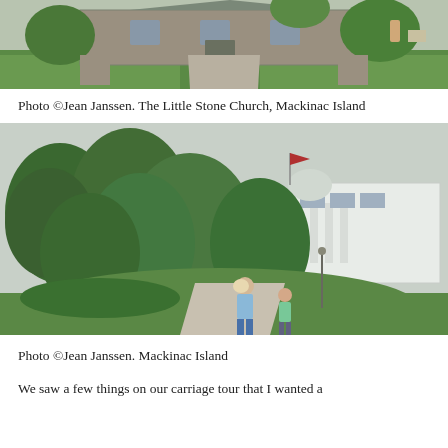[Figure (photo): Exterior photo of The Little Stone Church on Mackinac Island, a stone building with green lawn and a pathway leading to the entrance, with a figure visible near a sign]
Photo ©Jean Janssen. The Little Stone Church, Mackinac Island
[Figure (photo): Outdoor photo of Mackinac Island showing a lush green park with large trees, a white grand hotel visible in the background, and two people walking on a paved path in the foreground]
Photo ©Jean Janssen. Mackinac Island
We saw a few things on our carriage tour that I wanted a